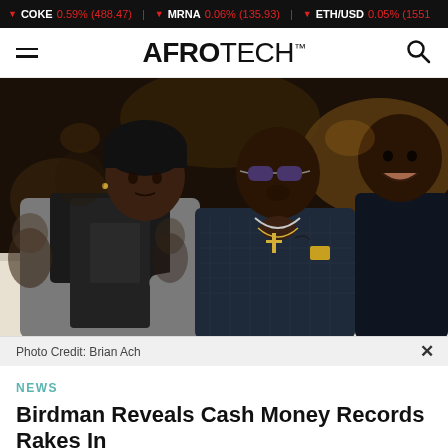▼ COKE 0.59% (488.47) | ▼ MRNA 0.06% (135.93) | ▼ ETH/USD 0.05% (1551
AFROTECH™
[Figure (photo): Three men seated at a dinner table in a restaurant setting. The man on the left wears a grey jacket and black scarf and beanie hat. The middle man wears a blue quilted jacket and sunglasses with chains/necklaces. The man on the right wears a dark navy turtleneck and is smiling. Background shows other diners and warm restaurant lighting.]
Photo Credit: Brian Ach
NEWS
Birdman Reveals Cash Money Records Rakes In